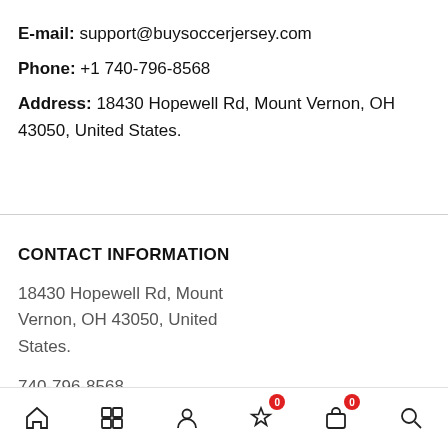E-mail: support@buysoccerjersey.com
Phone: +1 740-796-8568
Address: 18430 Hopewell Rd, Mount Vernon, OH 43050, United States.
CONTACT INFORMATION
18430 Hopewell Rd, Mount Vernon, OH 43050, United States.
740-796-8568